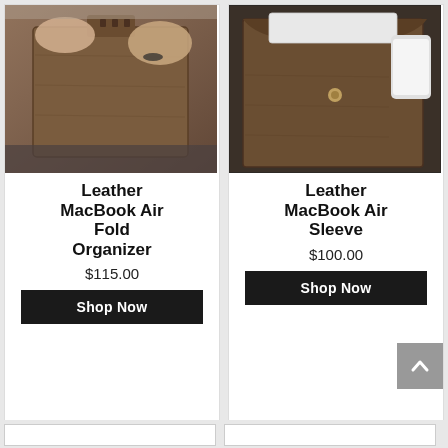[Figure (photo): Hands holding a brown leather MacBook Air fold organizer from above]
Leather MacBook Air Fold Organizer
$115.00
Shop Now
[Figure (photo): Brown leather MacBook Air sleeve with Apple MacBook and iPhone partially inserted]
Leather MacBook Air Sleeve
$100.00
Shop Now